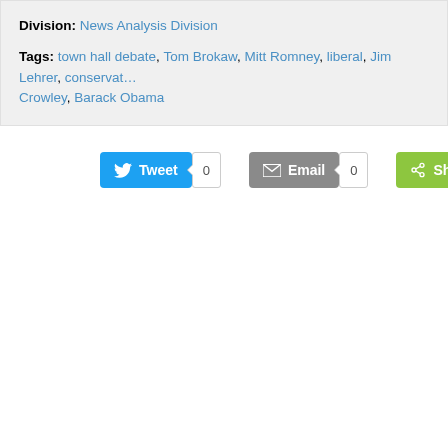Division: News Analysis Division
Tags: town hall debate, Tom Brokaw, Mitt Romney, liberal, Jim Lehrer, conservat… Crowley, Barack Obama
[Figure (screenshot): Social sharing buttons: Tweet (count 0), Email (count 0), Share]